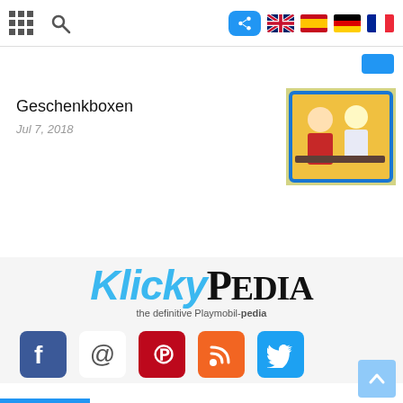[Figure (screenshot): Top navigation bar of a mobile website with grid icon, search icon, share button, and four country flag icons (UK, Spain, Germany, France)]
Geschenkboxen
Jul 7, 2018
[Figure (photo): Thumbnail image showing Playmobil figures illustration with two characters in a colorful box interior]
[Figure (logo): KlickyPedia logo - 'Klicky' in blue italic bold and 'PEDIA' in black serif, with tagline 'the definitive Playmobil-pedia']
[Figure (infographic): Social media icons row: Facebook (blue), Email @ (grey), Pinterest (red), RSS (orange), Twitter (blue)]